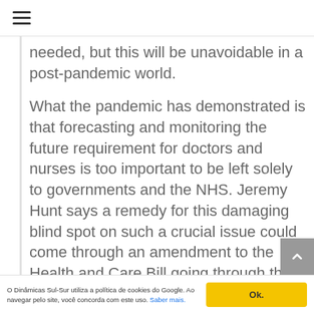☰
needed, but this will be unavoidable in a post-pandemic world.
What the pandemic has demonstrated is that forecasting and monitoring the future requirement for doctors and nurses is too important to be left solely to governments and the NHS. Jeremy Hunt says a remedy for this damaging blind spot on such a crucial issue could come through an amendment to the Health and Care Bill going through the House of Lords, providing for independent and public forecasts of the number of doctors Britain should be training.
O Dinâmicas Sul-Sur utiliza a política de cookies do Google. Ao navegar pelo site, você concorda com este uso. Saber mais.   Ok.